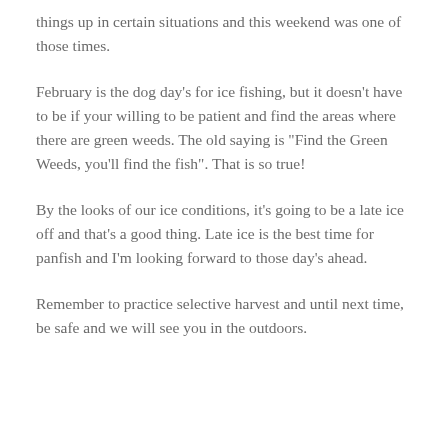things up in certain situations and this weekend was one of those times.
February is the dog day's for ice fishing, but it doesn't have to be if your willing to be patient and find the areas where there are green weeds. The old saying is "Find the Green Weeds, you'll find the fish". That is so true!
By the looks of our ice conditions, it's going to be a late ice off and that's a good thing. Late ice is the best time for panfish and I'm looking forward to those day's ahead.
Remember to practice selective harvest and until next time, be safe and we will see you in the outdoors.